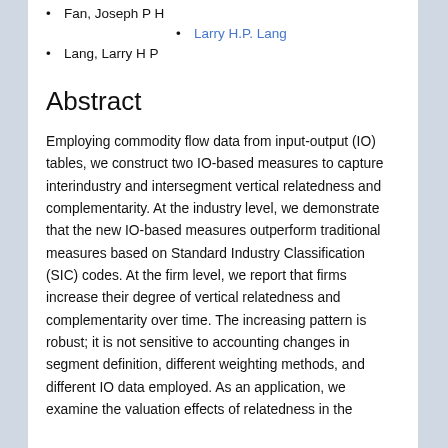Fan, Joseph P H
Larry H.P. Lang
Lang, Larry H P
Abstract
Employing commodity flow data from input-output (IO) tables, we construct two IO-based measures to capture interindustry and intersegment vertical relatedness and complementarity. At the industry level, we demonstrate that the new IO-based measures outperform traditional measures based on Standard Industry Classification (SIC) codes. At the firm level, we report that firms increase their degree of vertical relatedness and complementarity over time. The increasing pattern is robust; it is not sensitive to accounting changes in segment definition, different weighting methods, and different IO data employed. As an application, we examine the valuation effects of relatedness in the